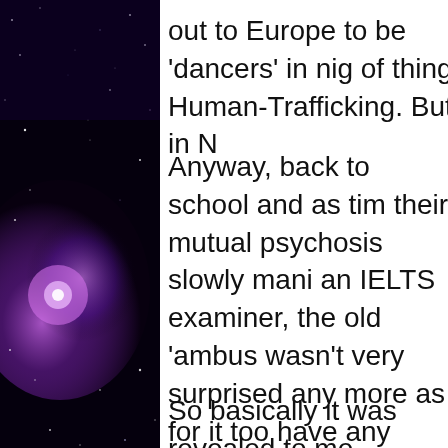[Figure (illustration): Dark space/galaxy background with purple and blue nebula stars on the left side of the page]
out to Europe to be 'dancers' in nig of thing Human-Trafficking. But in N
Anyway, back to school and as tim their mutual psychosis slowly mani an IELTS examiner, the old 'ambus wasn't very surprised any more as for it too have any effect, and even buzz I had already experienced an anxiety it was designed to invoke.
So basically it was revealed to me 'something' and this became obvio